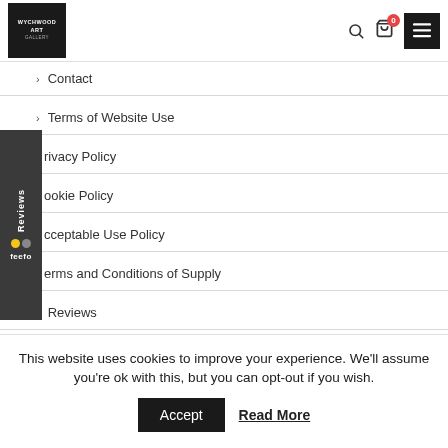[Figure (logo): Wychwood Art Gallery logo — white text on black square background]
Contact
Terms of Website Use
Privacy Policy
Cookie Policy
Acceptable Use Policy
Terms and Conditions of Supply
Reviews
This website uses cookies to improve your experience. We'll assume you're ok with this, but you can opt-out if you wish.
Accept   Read More